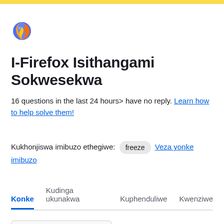[Figure (logo): Firefox browser logo — orange flame wrapped around a blue/purple globe]
I-Firefox Isithangami Sokwesekwa
16 questions in the last 24 hours> have no reply. Learn how to help solve them!
Kukhonjiswa imibuzo ethegiwe: freeze  Veza yonke imibuzo
Konke   Kudinga ukunakwa   Kuphenduliwe   Kwenziwe